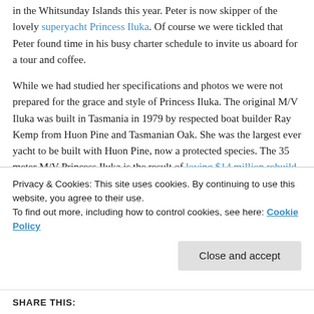in the Whitsunday Islands this year. Peter is now skipper of the lovely superyacht Princess Iluka. Of course we were tickled that Peter found time in his busy charter schedule to invite us aboard for a tour and coffee.
While we had studied her specifications and photos we were not prepared for the grace and style of Princess Iluka. The original M/V Iluka was built in Tasmania in 1979 by respected boat builder Ray Kemp from Huon Pine and Tasmanian Oak. She was the largest ever yacht to be built with Huon Pine, now a protected species. The 35 meter M/V Princess Iluka is the result of loving $14 million rebuild completed in 2009 by new owner Robert McVicker — continuing the tradition of timber boat building
Privacy & Cookies: This site uses cookies. By continuing to use this website, you agree to their use.
To find out more, including how to control cookies, see here: Cookie Policy
Close and accept
SHARE THIS: